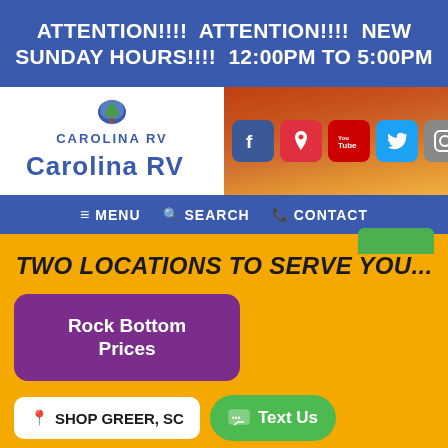ATTENTION!!!! ATTENTION!!!! NEW SUNDAY HOURS!!!!  12:00PM TO 5:00PM
[Figure (logo): Carolina RV logo with tree icon and social media icons (Facebook, Pinterest/location, YouTube, Twitter, Instagram)]
≡ MENU   🔍 SEARCH   📞 CONTACT
TWO LOCATIONS TO SERVE YOU...
Rock Bottom Prices
📍 SHOP GREER, SC
Text Us
864.848.0098